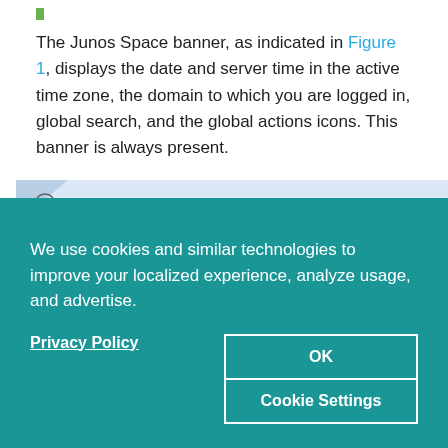The Junos Space banner, as indicated in Figure 1, displays the date and server time in the active time zone, the domain to which you are logged in, global search, and the global actions icons. This banner is always present.
NOTE  If you access the Junos Space Platform UI in two tabs of the same browser with two different domains selected and access the same page in both
We use cookies and similar technologies to improve your localized experience, analyze usage, and advertise.
Privacy Policy
OK
Cookie Settings